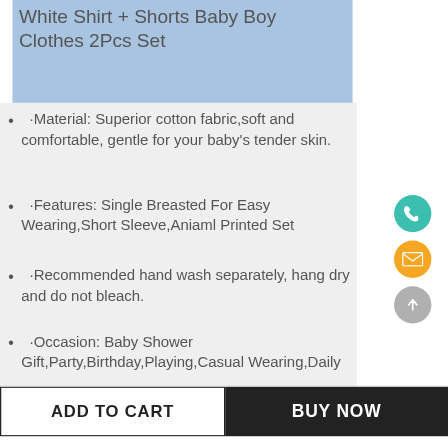White Shirt + Shorts Baby Boy Clothes 2Pcs Set
·Material: Superior cotton fabric,soft and comfortable, gentle for your baby's tender skin.
·Features: Single Breasted For Easy Wearing,Short Sleeve,Aniaml Printed Set
·Recommended hand wash separately, hang dry and do not bleach.
·Occasion: Baby Shower Gift,Party,Birthday,Playing,Casual Wearing,Daily